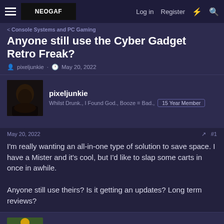NEOGAF.COM — Log in  Register
< Console Systems and PC Gaming
Anyone still use the Cyber Gadget Retro Freak?
pixeljunkie · May 20, 2022
pixeljunkie
Whilst Drunk., I Found God., Booze = Bad.,  15 Year Member
May 20, 2022  #1
I'm really wanting an all-in-one type of solution to save space. I have a Mister and it's cool, but I'd like to slap some carts in once in awhile.

Anyone still use theirs? Is it getting an updates? Long term reviews?
ggallegos1
Cholecystectomy Required.,  10 Year Member
May 20, 2022  #2